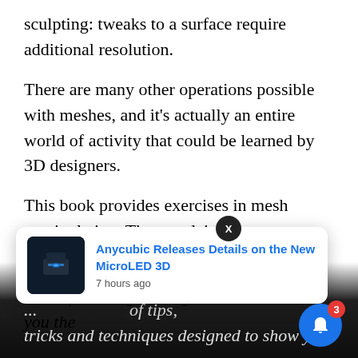sculpting: tweaks to a surface require additional resolution.
There are many other operations possible with meshes, and it’s actually an entire world of activity that could be learned by 3D designers.
This book provides exercises in mesh manipulation. They explain:
“ “The Pushing Points Topology Workbook is a software agnostic guide that teaches you the
[Figure (screenshot): Push notification popup overlay showing Anycubic MicroLED 3D printer news item with thumbnail, title in blue, and timestamp '7 hours ago'. A dark X close button appears above it, and a blue bell notification button with red badge showing '3' appears in the bottom right corner.]
...re are over...  of tips, tricks and techniques designed to show you